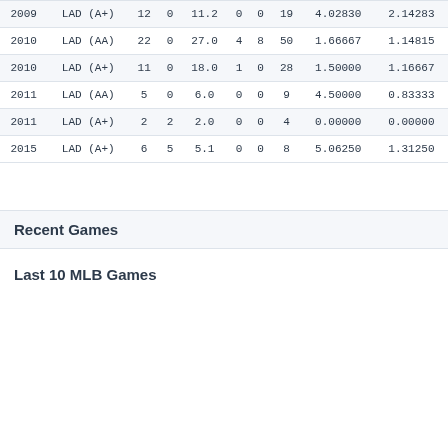| YEAR | TEAM | G | GS | IP | W | L | SO | ERA | WHIP |
| --- | --- | --- | --- | --- | --- | --- | --- | --- | --- |
| 2009 | LAD (A+) | 12 | 0 | 11.2 | 0 | 0 | 19 | 4.02830 | 2.14283 |
| 2010 | LAD (AA) | 22 | 0 | 27.0 | 4 | 8 | 50 | 1.66667 | 1.14815 |
| 2010 | LAD (A+) | 11 | 0 | 18.0 | 1 | 0 | 28 | 1.50000 | 1.16667 |
| 2011 | LAD (AA) | 5 | 0 | 6.0 | 0 | 0 | 9 | 4.50000 | 0.83333 |
| 2011 | LAD (A+) | 2 | 2 | 2.0 | 0 | 0 | 4 | 0.00000 | 0.00000 |
| 2015 | LAD (A+) | 6 | 5 | 5.1 | 0 | 0 | 8 | 5.06250 | 1.31250 |
Recent Games
Last 10 MLB Games
| DATE | TEAM | OPPONENT | GS | WIN | SAVE | HOLD | IP | TBF | R |
| --- | --- | --- | --- | --- | --- | --- | --- | --- | --- |
| 2022-09-03 | ATL | MIA | 0 | 0 | 0 | 0 | 0.2 | 5 | 1 |
| 2022-09-01 | ATL | COL | 0 | 0 | 1 | 0 | 1.0 | 3 | 0 |
| 2022-08-31 | ATL | COL | 0 | 0 | 1 | 0 | 1.0 | 5 | 2 |
| 2022-08-27 | ATL | @STL | 0 | 0 | 0 | 0 | 0.1 | 6 | 2 |
| 2022-08-22 | ATL | @PIT | 0 | 0 | 1 | 0 | 1.0 | 3 | 0 |
| 2022-08-19 | ATL | HOU | 0 | 0 | 0 | 0 | 1.0 | 4 | 0 |